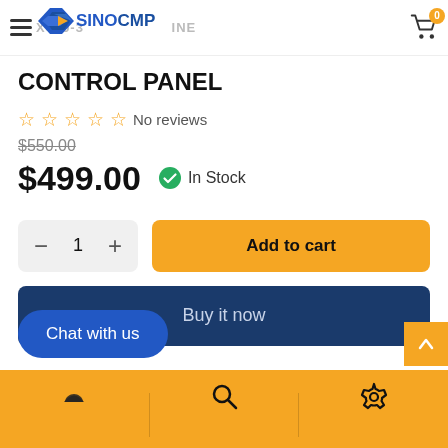9145297 HITACHI EXCAVATOR EX450-3 ENGINE CONTROL PANEL — SINOCMP — Cart 0
CONTROL PANEL
☆☆☆☆☆ No reviews
$550.00
$499.00 ✅ In Stock
− 1 +  Add to cart
Buy it now
Chat with us